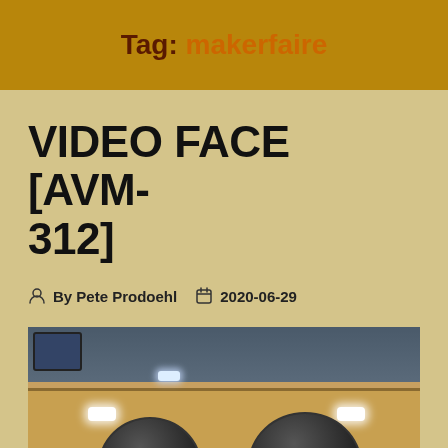Tag: makerfaire
VIDEO FACE [AVM-312]
By Pete Prodoehl  2020-06-29
[Figure (photo): A wooden board with two dark dome cameras mounted on it and white LED lights, photographed on a workbench with electronics in the background.]